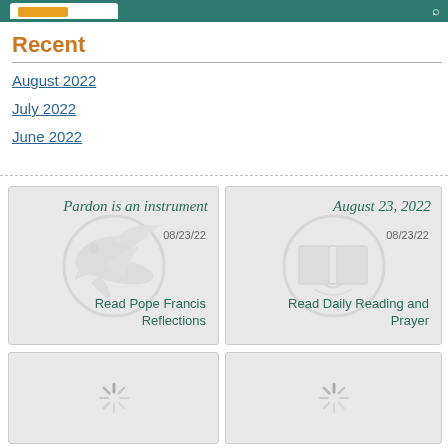Recent
August 2022
July 2022
June 2022
[Figure (illustration): Card with dove watermark - Pardon is an instrument, 08/23/22, Read Pope Francis Reflections]
[Figure (illustration): Card with book watermark - August 23 2022, 08/23/22, Read Daily Reading and Prayer]
[Figure (illustration): Loading card with spinner icon]
[Figure (illustration): Loading card with spinner icon]